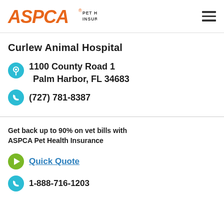ASPCA PET HEALTH INSURANCE
Curlew Animal Hospital
1100 County Road 1
Palm Harbor, FL 34683
(727) 781-8387
Get back up to 90% on vet bills with ASPCA Pet Health Insurance
Quick Quote
1-888-716-1203